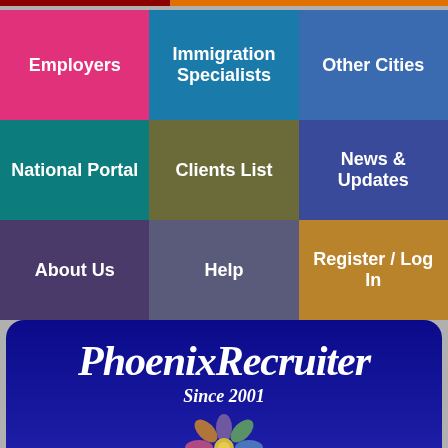[Figure (screenshot): Navigation grid with 9 colored cells: Employers (pink), Immigration Specialists (teal-blue), Other Cities (blue), National Portal (teal), Clients List (olive), News & Updates (blue), About Us (dark purple), Help (purple), Register / Log In (gold)]
PhoenixRecruiter Since 2001
This website uses cookies to ensure you get the best experience on our website.
the smart solution for Phoenix jobs
Got it!